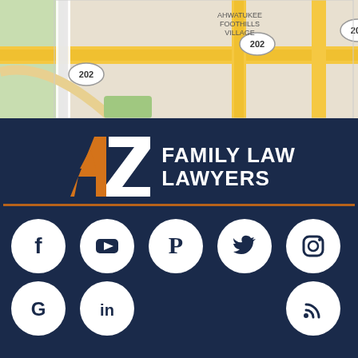[Figure (map): Google Maps partial view showing Ahwatukee Foothills Village area with route 202 visible]
[Figure (logo): AZ Family Law Lawyers logo with orange AZ letters and white text on dark navy background, with brown underline]
[Figure (infographic): Social media icons row 1: Facebook, YouTube, Pinterest, Twitter, Instagram; row 2: Google, LinkedIn, RSS feed]